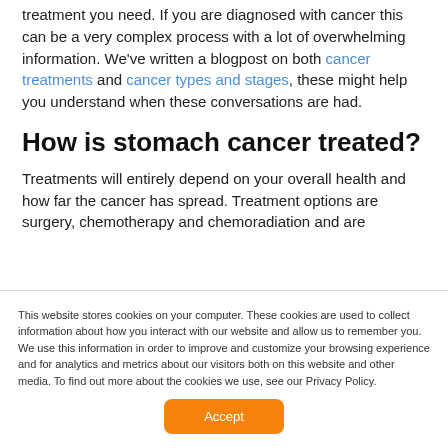treatment you need. If you are diagnosed with cancer this can be a very complex process with a lot of overwhelming information. We've written a blogpost on both cancer treatments and cancer types and stages, these might help you understand when these conversations are had.
How is stomach cancer treated?
Treatments will entirely depend on your overall health and how far the cancer has spread. Treatment options are surgery, chemotherapy and chemoradiation and are
This website stores cookies on your computer. These cookies are used to collect information about how you interact with our website and allow us to remember you. We use this information in order to improve and customize your browsing experience and for analytics and metrics about our visitors both on this website and other media. To find out more about the cookies we use, see our Privacy Policy.